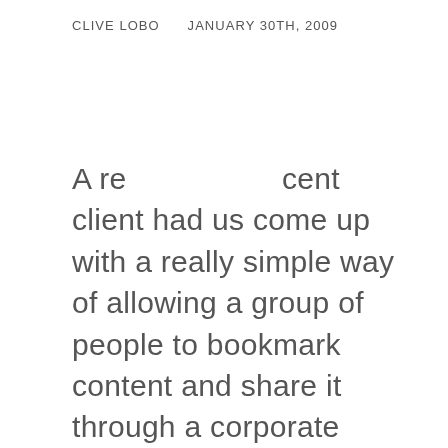CLIVE LOBO    JANUARY 30TH, 2009
A recent client had us come up with a really simple way of allowing a group of people to bookmark content and share it through a corporate blog. So I thought about all my experience with RSS and WordPress and came up with an elegant and simple solution.